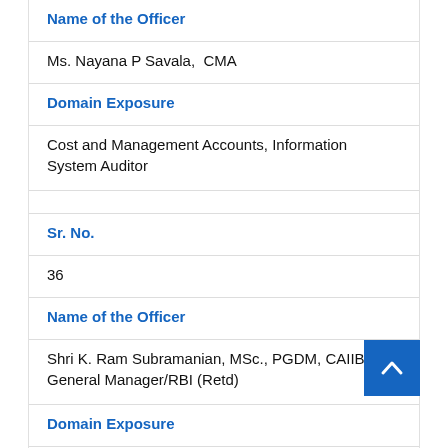Name of the Officer
Ms. Nayana P Savala,  CMA
Domain Exposure
Cost and Management Accounts, Information System Auditor
Sr. No.
36
Name of the Officer
Shri K. Ram Subramanian, MSc., PGDM, CAIIB General Manager/RBI (Retd)
Domain Exposure
Foreign Exchange exposure & Risk Management
Sr. No.